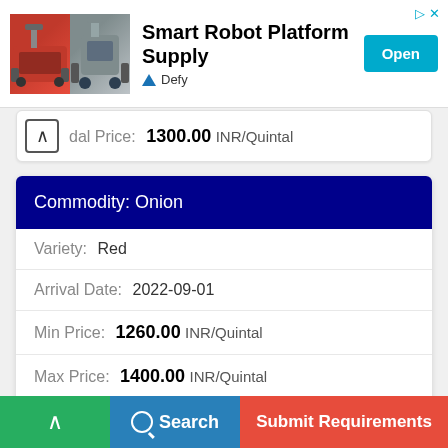[Figure (screenshot): Advertisement banner for Smart Robot Platform Supply by Defy, with robot images, Open button, and ad control icons]
dal Price:  1300.00 INR/Quintal
| Field | Value |
| --- | --- |
| Commodity: | Onion |
| Variety: | Red |
| Arrival Date: | 2022-09-01 |
| Min Price: | 1260.00 INR/Quintal |
| Max Price: | 1400.00 INR/Quintal |
| Modal Price: | 1325.00 INR/Quintal |
Commodity:  Onion